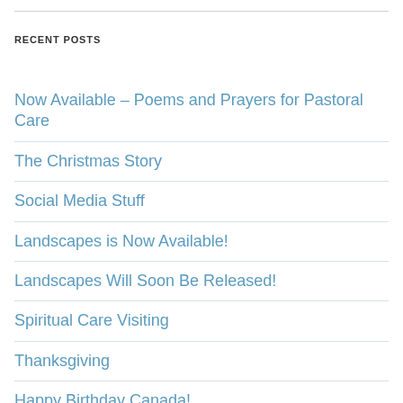RECENT POSTS
Now Available – Poems and Prayers for Pastoral Care
The Christmas Story
Social Media Stuff
Landscapes is Now Available!
Landscapes Will Soon Be Released!
Spiritual Care Visiting
Thanksgiving
Happy Birthday Canada!